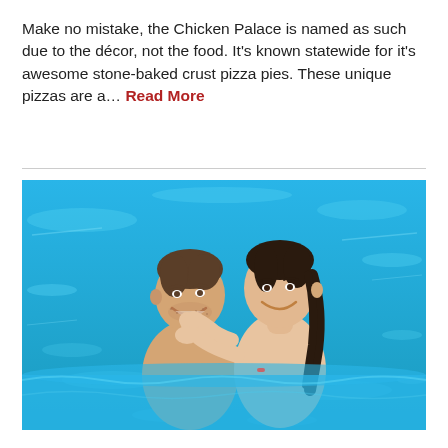Make no mistake, the Chicken Palace is named as such due to the décor, not the food. It's known statewide for it's awesome stone-baked crust pizza pies. These unique pizzas are a… Read More
[Figure (photo): A couple smiling at each other while swimming in a bright blue pool. The man has short brown hair and stubble; the woman has dark wet hair. The woman has her arms around the man's shoulders.]